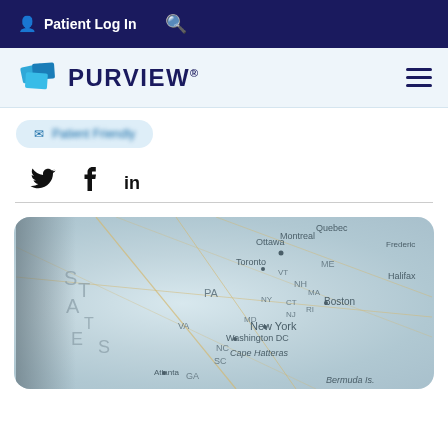Patient Log In  [search icon]
[Figure (logo): Purview logo with blue folded paper icon and PURVIEW® wordmark in dark navy]
[breadcrumb navigation - blurred]
Social share icons: Twitter, Facebook, LinkedIn
[Figure (photo): Close-up photo of a globe/map showing eastern United States, showing cities like New York, Washington DC, Boston, Toronto, Montreal, and geographic labels including states PA, VA, NC, GA, ME, NH, CT, NJ, RI, MD, DE. Also shows Cape Hatteras, Bermuda Islands, Halifax.]